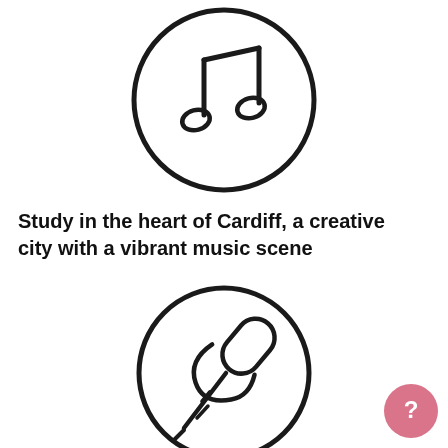[Figure (illustration): Music note icon inside a circle outline]
Study in the heart of Cardiff, a creative city with a vibrant music scene
[Figure (illustration): Microphone icon inside a circle outline]
[Figure (other): Pink circle with white question mark (help/chat button) in bottom right corner]